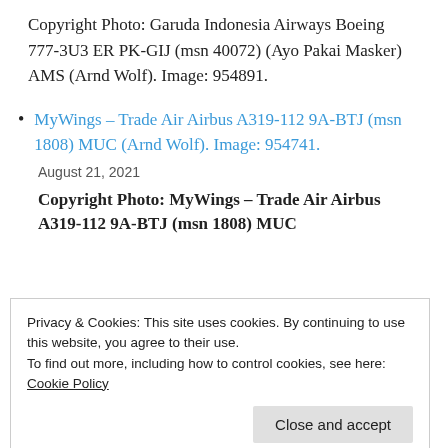Copyright Photo: Garuda Indonesia Airways Boeing 777-3U3 ER PK-GIJ (msn 40072) (Ayo Pakai Masker) AMS (Arnd Wolf). Image: 954891.
MyWings – Trade Air Airbus A319-112 9A-BTJ (msn 1808) MUC (Arnd Wolf). Image: 954741.
August 21, 2021
Copyright Photo: MyWings – Trade Air Airbus A319-112 9A-BTJ (msn 1808) MUC
Privacy & Cookies: This site uses cookies. By continuing to use this website, you agree to their use.
To find out more, including how to control cookies, see here:
Cookie Policy
Close and accept
954740.